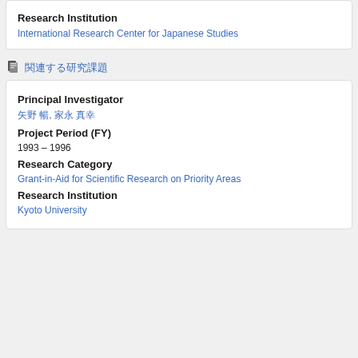Research Institution
International Research Center for Japanese Studies
関連する研究課題
Principal Investigator
矢野 暢, 家永 真幸
Project Period (FY)
1993 – 1996
Research Category
Grant-in-Aid for Scientific Research on Priority Areas
Research Institution
Kyoto University